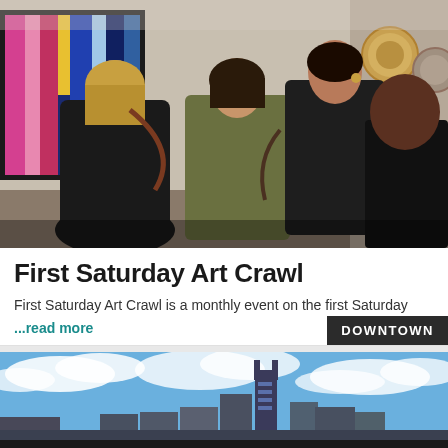[Figure (photo): People standing in an art gallery viewing colorful abstract paintings on white walls, photographed from behind, indoor lighting]
First Saturday Art Crawl
First Saturday Art Crawl is a monthly event on the first Saturday
...read more
DOWNTOWN
[Figure (photo): Skyline view with blue sky and clouds, Nashville buildings visible including a tower with pointed top]
Neighborhoods  Events  Eat & Drink  Live  More